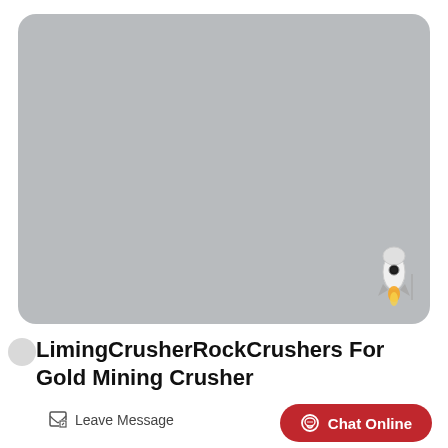[Figure (illustration): Large gray rounded rectangle placeholder image area with a small rocket illustration in the bottom-right corner]
LimingCrusherRockCrushers For Gold Mining Crusher
Leave Message
Chat Online